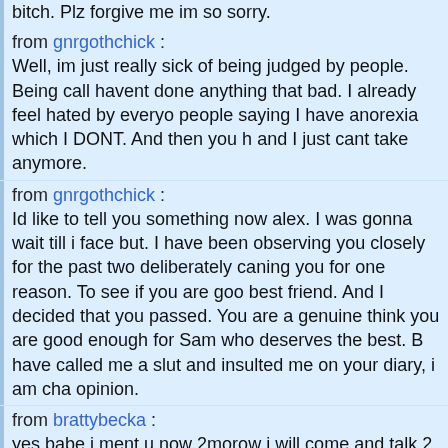bitch. Plz forgive me im so sorry.
from gnrgothchick : Well, im just really sick of being judged by people. Being called havent done anything that bad. I already feel hated by everyone people saying I have anorexia which I DONT. And then you h and I just cant take anymore.
from gnrgothchick : Id like to tell you something now alex. I was gonna wait till i face but. I have been observing you closely for the past two deliberately caning you for one reason. To see if you are good best friend. And I decided that you passed. You are a genuine think you are good enough for Sam who deserves the best. have called me a slut and insulted me on your diary, i am cha opinion.
from brattybecka : yes babe i ment u now 2morow i will come and talk 2 u coz i love ya xxxxxxxxxxxxxxxxxxxxxxxxxxxxxxxxxxxxxxxxxxxx
from gnrgothchick : Hi Alex. I love reading your diary it rules! If ya wanna read mi gnrgothchick.diaryland.com Im not in a good mood. I feel so and my life feels so pointless right now. Im gonna go bang my repeatedly against sumfin hard. I love Ross Chandler loads a forever and always. Luvya frm anneliese xxxxxxxxxxxxxxxx
from kate19 :